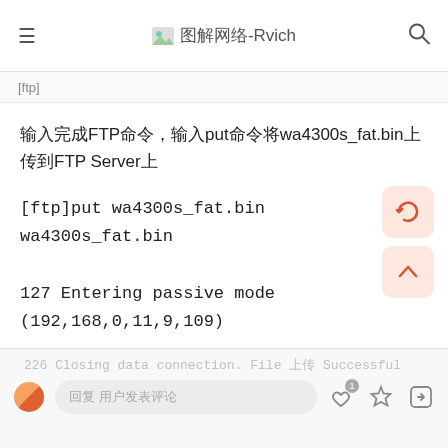图解网络-Rvich
[ftp]
输入完成FTP命令，输入put命令将wa4300s_fat.bin上传到FTP Server上
[ftp]put wa4300s_fat.bin wa4300s_fat.bin
227 Entering passive mode (192,168,0,11,9,109)
125 Using existing data connection
226 Closing data connection. File 上传 Successful